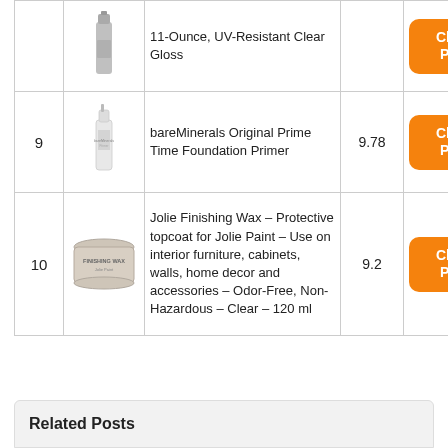| # | Image | Product | Score |  |
| --- | --- | --- | --- | --- |
|  |  | 11-Ounce, UV-Resistant Clear Gloss |  | Check Price |
| 9 |  | bareMinerals Original Prime Time Foundation Primer | 9.78 | Check Price |
| 10 |  | Jolie Finishing Wax – Protective topcoat for Jolie Paint – Use on interior furniture, cabinets, walls, home decor and accessories – Odor-Free, Non-Hazardous – Clear – 120 ml | 9.2 | Check Price |
Related Posts